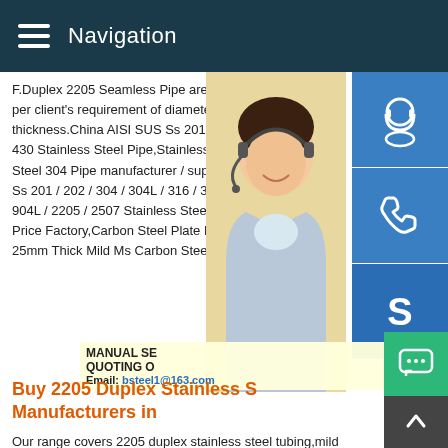Navigation
F.Duplex 2205 Seamless Pipe are produced per client's requirement of diameter,length thickness.China AISI SUS Ss 201 / 202 / 3 430 Stainless Steel Pipe,Stainless Steel P Steel 304 Pipe manufacturer / supplier in C Ss 201 / 202 / 304 / 304L / 316 / 316L / 31 904L / 2205 / 2507 Stainless Steel Welded Price Factory,Carbon Steel Plate Price A5 25mm Thick Mild Ms Carbon Steel Plate a
[Figure (photo): Woman with headset smiling, customer service representative]
MANUAL SE QUOTING O Email: bsteel1@163.com
Buy 2205 Duplex Stainless S Manufacturers in
Our range covers 2205 duplex stainless steel tubing,mild steel,stainless steel,cold drawn,structural,tubular,galvanized tubes,pipe,black pipe,and welded tube and pipe.Widely regarded as being the leading supplier of 2205 duplex stainless steel tu including China Pipes in the manufacturing for Product Custom